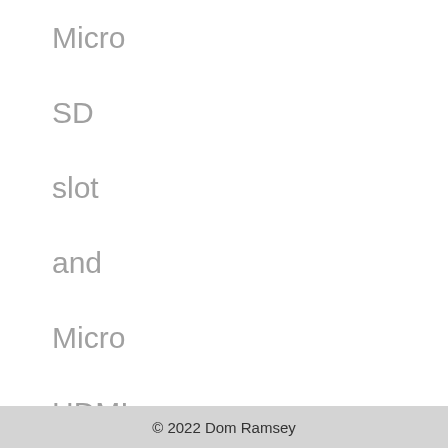Micro SD slot and Micro HDMI for video out. Acer are pricing the
© 2022 Dom Ramsey